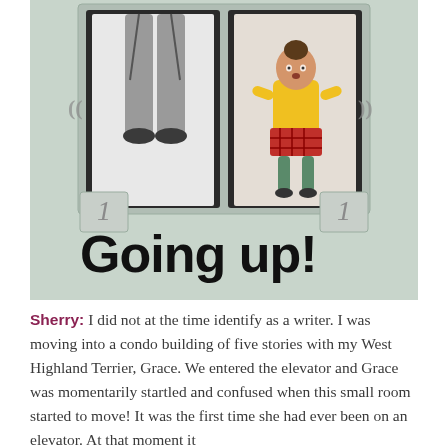[Figure (illustration): Children's book illustration showing an elevator with open doors. An adult's legs (in grey trousers) are visible in the left door panel, and a young girl in a yellow coat and red plaid skirt stands in the right door panel. Below the elevator doors, handwritten-style text reads 'Going up!' in large black letters. The background is light grey-green.]
Sherry: I did not at the time identify as a writer.  I was moving into a condo building of five stories with my West Highland Terrier, Grace.  We entered the elevator and Grace was momentarily startled and confused when this small room started to move!  It was the first time she had ever been on an elevator.  At that moment it